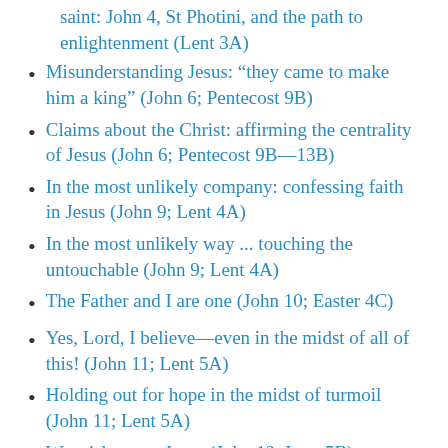saint: John 4, St Photini, and the path to enlightenment (Lent 3A)
Misunderstanding Jesus: “they came to make him a king” (John 6; Pentecost 9B)
Claims about the Christ: affirming the centrality of Jesus (John 6; Pentecost 9B—13B)
In the most unlikely company: confessing faith in Jesus (John 9; Lent 4A)
In the most unlikely way ... touching the untouchable (John 9; Lent 4A)
The Father and I are one (John 10; Easter 4C)
Yes, Lord, I believe—even in the midst of all of this! (John 11; Lent 5A)
Holding out for hope in the midst of turmoil (John 11; Lent 5A)
We wish to see Jesus (John 12; Lent 5B)